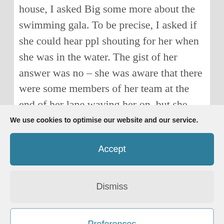house, I asked Big some more about the swimming gala. To be precise, I asked if she could hear ppl shouting for her when she was in the water. The gist of her answer was no – she was aware that there were some members of her team at the end of her lane waving her on, but she didn't hear the shouts from the audience. She didn't
We use cookies to optimise our website and our service.
Accept
Dismiss
Preferences